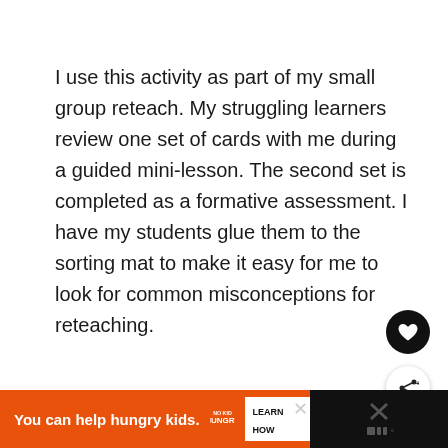I use this activity as part of my small group reteach. My struggling learners review one set of cards with me during a guided mini-lesson. The second set is completed as a formative assessment. I have my students glue them to the sorting mat to make it easy for me to look for common misconceptions for reteaching.
[Figure (other): Black circular heart button (favorite/like button) on the right side]
[Figure (other): White circular share/social button with share+ icon on the right side]
You can help hungry kids. NO KID HUNGRY LEARN HOW